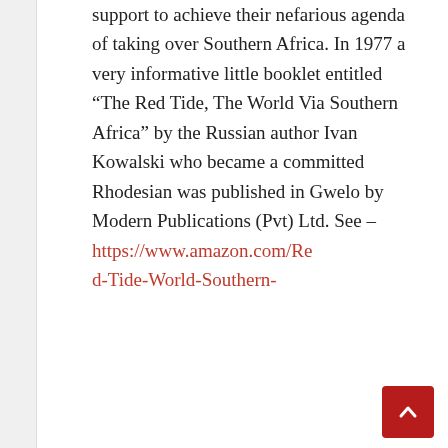support to achieve their nefarious agenda of taking over Southern Africa. In 1977 a very informative little booklet entitled “The Red Tide, The World Via Southern Africa” by the Russian author Ivan Kowalski who became a committed Rhodesian was published in Gwelo by Modern Publications (Pvt) Ltd. See – https://www.amazon.com/Red-Tide-World-Southern-